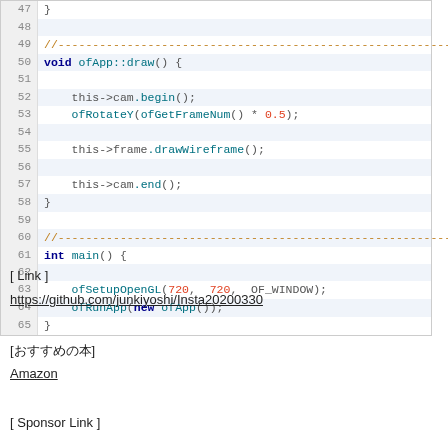[Figure (screenshot): Code editor screenshot showing C++ openFrameworks code lines 47-65, with syntax highlighting. Lines include closing brace, void ofApp::draw() function with this->cam.begin(), ofRotateY(ofGetFrameNum() * 0.5), this->frame.drawWireframe(), this->cam.end(), and int main() function with ofSetupOpenGL(720, 720, OF_WINDOW) and ofRunApp(new ofApp()).]
[ Link ]
https://github.com/junkiyoshi/Insta20200330
[おすすめの本]
Amazon
[ Sponsor Link ]